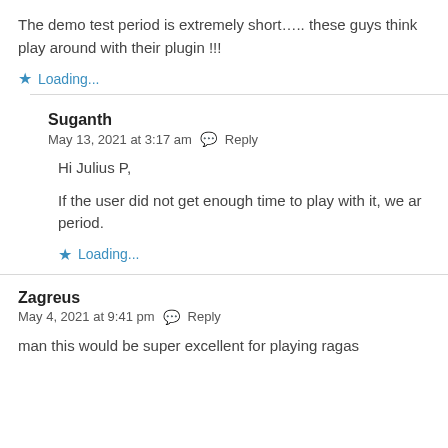The demo test period is extremely short..... these guys think play around with their plugin !!!
Loading...
Suganth
May 13, 2021 at 3:17 am   Reply
Hi Julius P,
If the user did not get enough time to play with it, we ar period.
Loading...
Zagreus
May 4, 2021 at 9:41 pm   Reply
man this would be super excellent for playing ragas